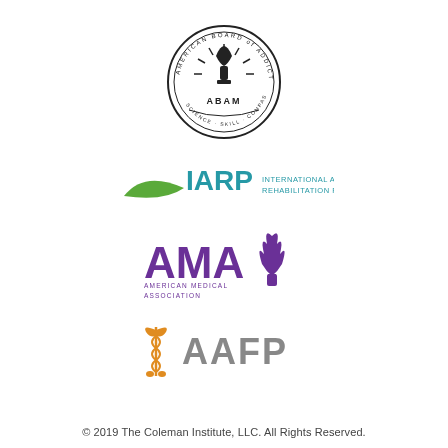[Figure (logo): American Board of Addiction Medicine (ABAM) circular seal logo in black and white]
[Figure (logo): IARP International Association of Rehabilitation Professionals logo with green swoosh and teal text]
[Figure (logo): AMA American Medical Association logo in purple with stylized torch/flame graphic]
[Figure (logo): AAFP logo with orange caduceus and gray text]
© 2019 The Coleman Institute, LLC. All Rights Reserved.